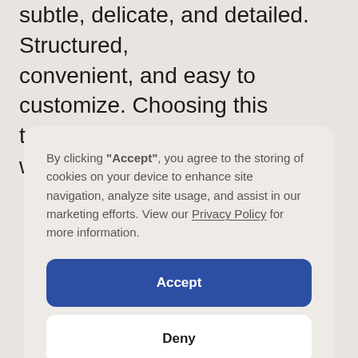subtle, delicate, and detailed. Structured, convenient, and easy to customize. Choosing this template means showing your work in an efficient
By clicking "Accept", you agree to the storing of cookies on your device to enhance site navigation, analyze site usage, and assist in our marketing efforts. View our Privacy Policy for more information.
Accept
Deny